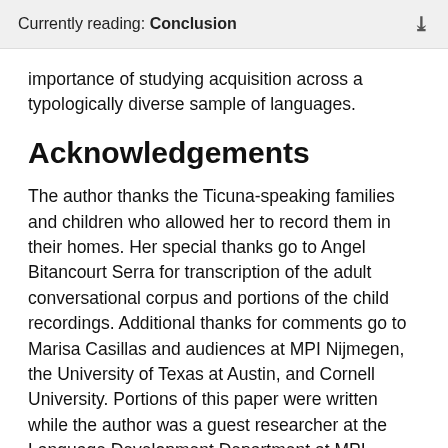Currently reading: Conclusion
importance of studying acquisition across a typologically diverse sample of languages.
Acknowledgements
The author thanks the Ticuna-speaking families and children who allowed her to record them in their homes. Her special thanks go to Angel Bitancourt Serra for transcription of the adult conversational corpus and portions of the child recordings. Additional thanks for comments go to Marisa Casillas and audiences at MPI Nijmegen, the University of Texas at Austin, and Cornell University. Portions of this paper were written while the author was a guest researcher at the Language Development Department at MPI Nijmegen and the Baby & Child Research Centre at Radboud University;